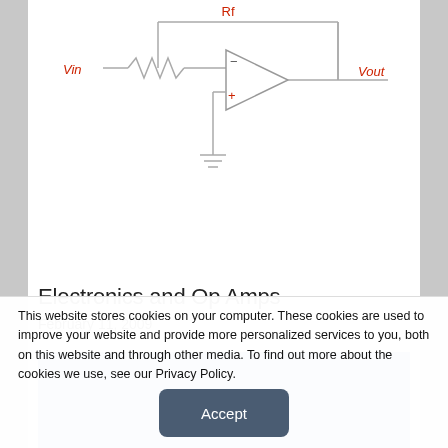[Figure (circuit-diagram): Op-amp inverting amplifier circuit diagram with Vin label on left, a resistor, op-amp triangle symbol with minus (-) and plus (+) inputs, Vout label on right, and a ground symbol at bottom.]
Electronics and Op Amps
February 11, 2009
[Figure (photo): Partial photo of a person's head with dark hair against a blue background.]
This website stores cookies on your computer. These cookies are used to improve your website and provide more personalized services to you, both on this website and through other media. To find out more about the cookies we use, see our Privacy Policy.